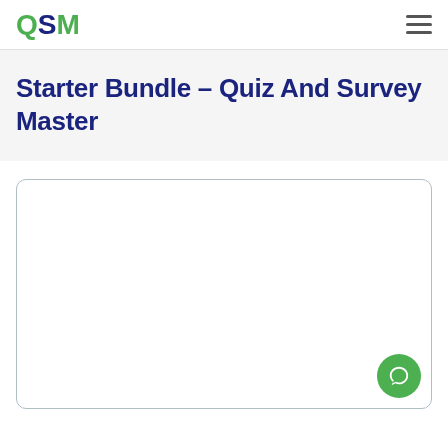QSM
Starter Bundle - Quiz And Survey Master
[Figure (other): Empty white card/box with rounded border and a green chat bubble button in the bottom right corner]